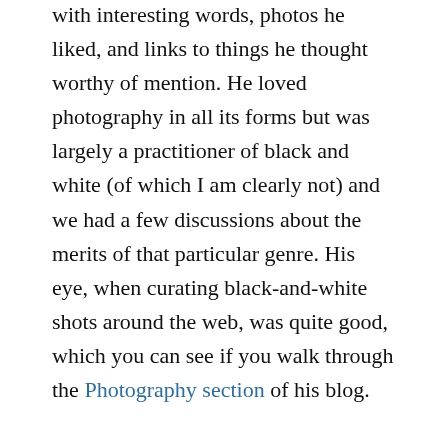with interesting words, photos he liked, and links to things he thought worthy of mention. He loved photography in all its forms but was largely a practitioner of black and white (of which I am clearly not) and we had a few discussions about the merits of that particular genre. His eye, when curating black-and-white shots around the web, was quite good, which you can see if you walk through the Photography section of his blog.
While I was out shooting this past month, I kept thinking that I needed to create at least one black-and-white photo for Richard,